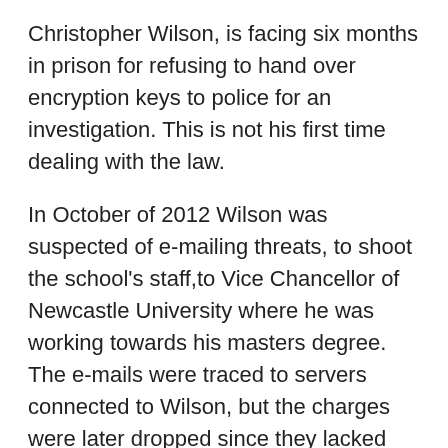Christopher Wilson, is facing six months in prison for refusing to hand over encryption keys to police for an investigation. This is not his first time dealing with the law.
In October of 2012 Wilson was suspected of e-mailing threats, to shoot the school's staff,to Vice Chancellor of Newcastle University where he was working towards his masters degree. The e-mails were traced to servers connected to Wilson, but the charges were later dropped since they lacked substantial evidence.
Two years later he became a prime suspect in another case of several threats, this time against the Northumbeia Police. They suspect he's been calling and warning of a cyber attack, of a planned break into the Serious Crimes Agency's website, and also encouraging people to deface a Facebook memorial page set up for two officers shot in